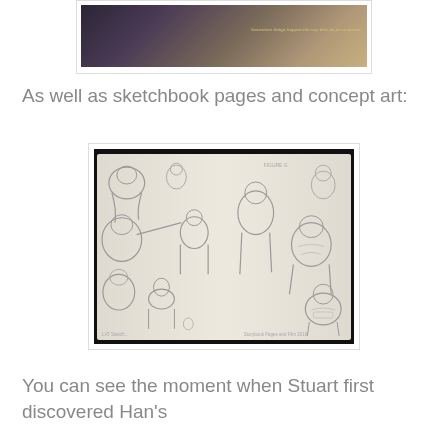[Figure (photo): Top portion of a book page showing an illustrated scene with dark fantasy imagery and a caption 'Sometimes things happen the way they do for a reason']
As well as sketchbook pages and concept art:
[Figure (photo): Open book showing two pages filled with pencil sketch character designs — round, tubby animated characters in various poses. Small caption text at bottom of pages.]
You can see the moment when Stuart first discovered Han's